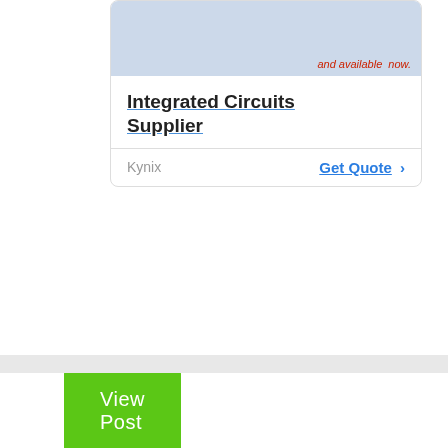[Figure (screenshot): Advertisement card for Integrated Circuits Supplier (Kynix) with a blue background image area showing text 'and available now.' in red italic, followed by a bold underlined title 'Integrated Circuits Supplier', supplier name 'Kynix' and a 'Get Quote >' call-to-action link.]
View Post
Cooking Pike, Northern Pike